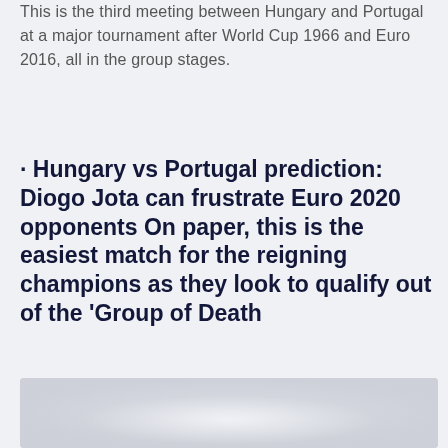This is the third meeting between Hungary and Portugal at a major tournament after World Cup 1966 and Euro 2016, all in the group stages.
· Hungary vs Portugal prediction: Diogo Jota can frustrate Euro 2020 opponents On paper, this is the easiest match for the reigning champions as they look to qualify out of the 'Group of Death
[Figure (photo): A mostly white/light grey image, partially visible at the bottom of the page, likely a sports photo.]